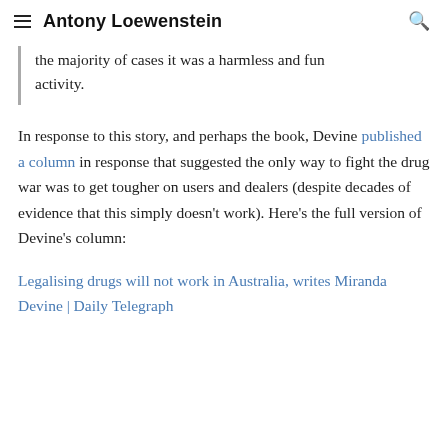Antony Loewenstein
the majority of cases it was a harmless and fun activity.
In response to this story, and perhaps the book, Devine published a column in response that suggested the only way to fight the drug war was to get tougher on users and dealers (despite decades of evidence that this simply doesn't work). Here's the full version of Devine's column:
Legalising drugs will not work in Australia, writes Miranda Devine | Daily Telegraph